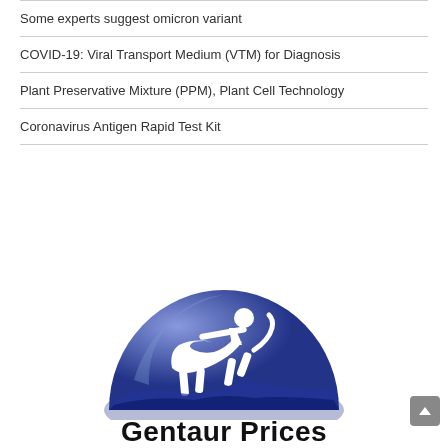Some experts suggest omicron variant
COVID-19: Viral Transport Medium (VTM) for Diagnosis
Plant Preservative Mixture (PPM), Plant Cell Technology
Coronavirus Antigen Rapid Test Kit
[Figure (logo): Gentaur Prices logo: blue dome/semicircle with white centaur (half-human, half-horse) figure on top, text 'Gentaur Prices' below in bold black]